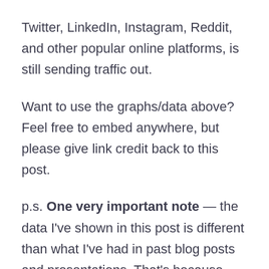Twitter, LinkedIn, Instagram, Reddit, and other popular online platforms, is still sending traffic out.
Want to use the graphs/data above? Feel free to embed anywhere, but please give link credit back to this post.
p.s. One very important note — the data I've shown in this post is different than what I've had in past blog posts and presentations. That's because Jumpshot has refined and